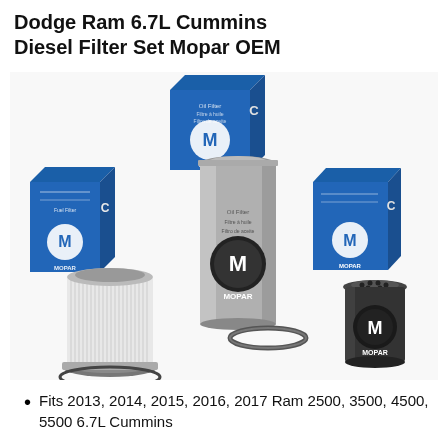Dodge Ram 6.7L Cummins Diesel Filter Set Mopar OEM
[Figure (photo): Product photo showing Mopar OEM Dodge Ram 6.7L Cummins Diesel Filter Set including oil filter in metallic canister, two fuel filters (one cylindrical white pleated, one small black spin-on), an o-ring, and three blue Mopar/Cummins branded packaging boxes.]
Fits 2013, 2014, 2015, 2016, 2017 Ram 2500, 3500, 4500, 5500 6.7L Cummins